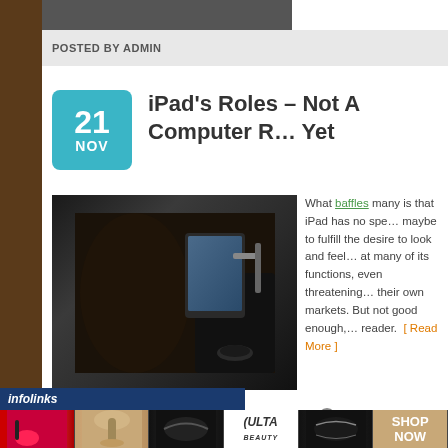POSTED BY ADMIN
iPad's Roles – Not A Computer R… Yet
[Figure (photo): iPad mounted in a car interior dashboard holder, dark leather seats visible]
What baffles many is that iPad has no spe… maybe to fulfill the desire to look and feel… at many of its functions, even threatening… their own markets. But not good enough,… reader. [ Read More ]
[Figure (illustration): Infolinks ad banner with beauty/makeup images and ULTA Beauty advertisement with SHOP NOW call to action]